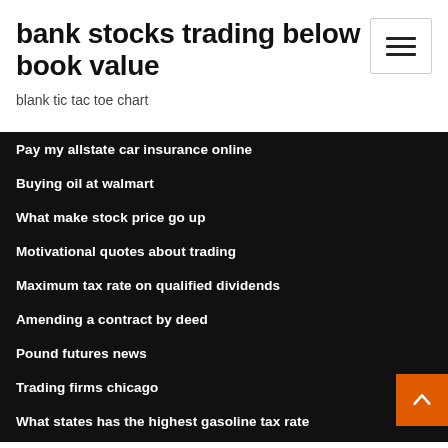bank stocks trading below book value
blank tic tac toe chart
Pay my allstate car insurance online
Buying oil at walmart
What make stock price go up
Motivational quotes about trading
Maximum tax rate on qualified dividends
Amending a contract by deed
Pound futures news
Trading firms chicago
What states has the highest gasoline tax rate